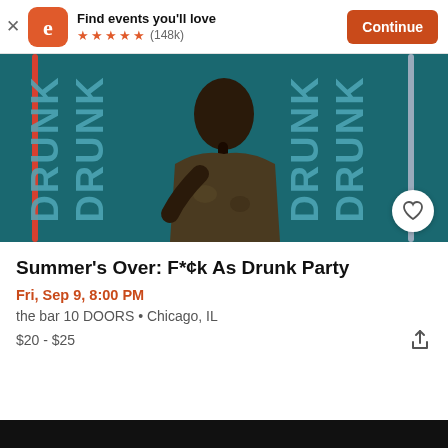Find events you'll love ★★★★★ (148k) Continue
[Figure (photo): Woman posing in front of teal background with repeated 'DRUNK' text in large letters. She is wearing a camo jacket with long braids.]
Summer's Over: F*¢k As Drunk Party
Fri, Sep 9, 8:00 PM
the bar 10 DOORS • Chicago, IL
$20 - $25